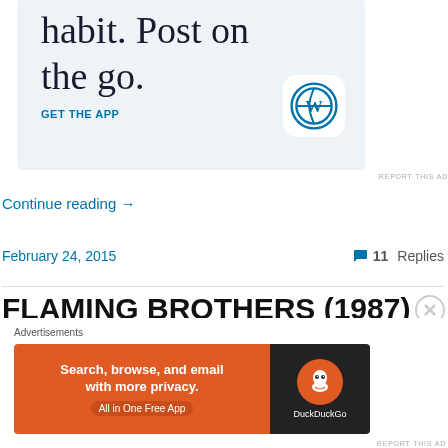[Figure (illustration): WordPress app advertisement with text 'habit. Post on the go.' and GET THE APP link with WordPress logo on light blue background]
REPORT THIS AD
Continue reading →
February 24, 2015
💬 11 Replies
FLAMING BROTHERS (1987)
Advertisements
[Figure (illustration): DuckDuckGo advertisement: orange left panel 'Search, browse, and email with more privacy. All in One Free App', dark right panel with DuckDuckGo logo]